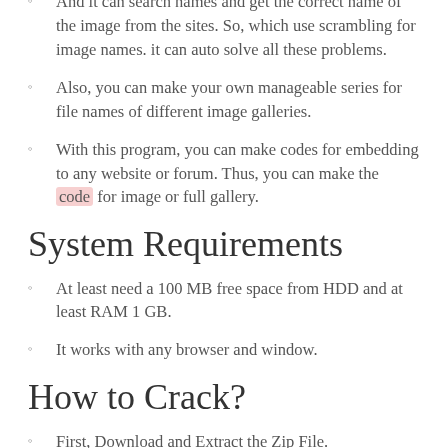And it can search names and get the correct name of the image from the sites. So, which use scrambling for image names. it can auto solve all these problems.
Also, you can make your own manageable series for file names of different image galleries.
With this program, you can make codes for embedding to any website or forum. Thus, you can make the code for image or full gallery.
System Requirements
At least need a 100 MB free space from HDD and at least RAM 1 GB.
It works with any browser and window.
How to Crack?
First, Download and Extract the Zip File.